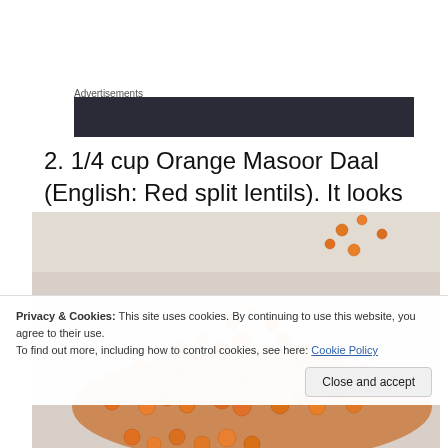Advertisements
[Figure (other): Dark advertisement banner block]
2. 1/4 cup Orange Masoor Daal (English: Red split lentils). It looks like this:
[Figure (photo): Photo of orange/red split lentils (Masoor Daal) piled on a white/grey surface, small round orange lentils scattered and piled]
Privacy & Cookies: This site uses cookies. By continuing to use this website, you agree to their use.
To find out more, including how to control cookies, see here: Cookie Policy
Close and accept